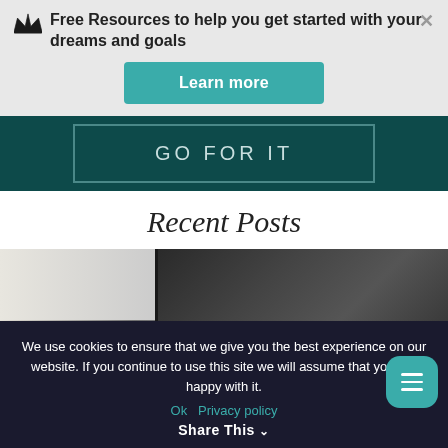Free Resources to help you get started with your dreams and goals
Learn more
GO FOR IT
Recent Posts
[Figure (photo): Dark background with books, partially visible]
We use cookies to ensure that we give you the best experience on our website. If you continue to use this site we will assume that you are happy with it.
Ok   Privacy policy
Share This